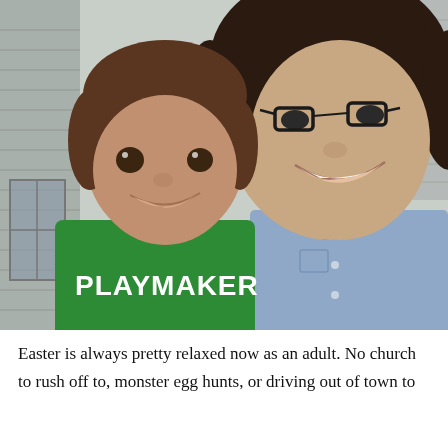[Figure (photo): A woman with dark curly hair and glasses wearing a light blue chambray shirt smiles at the camera in a selfie-style photo. Beside her is a young boy with short brown hair wearing a green t-shirt that reads 'PLAYMAKER'. They are posed in front of a house with gray siding.]
Easter is always pretty relaxed now as an adult. No church to rush off to, monster egg hunts, or driving out of town to